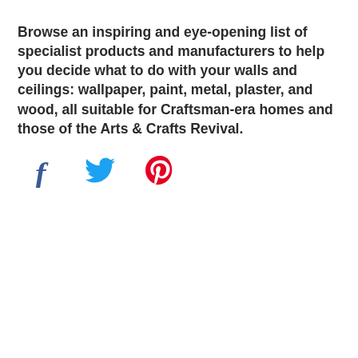Browse an inspiring and eye-opening list of specialist products and manufacturers to help you decide what to do with your walls and ceilings: wallpaper, paint, metal, plaster, and wood, all suitable for Craftsman-era homes and those of the Arts & Crafts Revival.
[Figure (other): Social sharing icons: Facebook (f), Twitter (bird), Pinterest (P)]